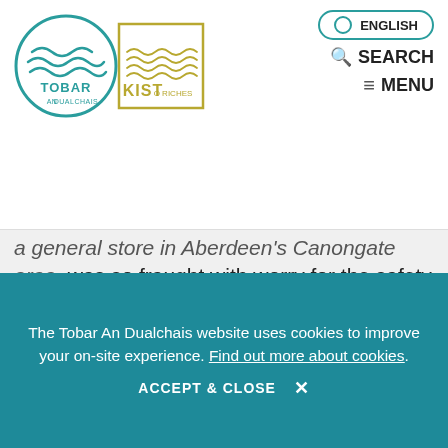[Figure (logo): Tobar An Dualchais and Kist O Riches logos side by side]
ENGLISH | SEARCH | MENU
a general store in Aberdeen's Canongate area, was so fraught with worry for the safety of her husband and sons that singing became both a useful distraction and a way to strengthen the bonds of family during a time of great challenge.
As Caroline Macafee notes, this was one of the key learning moments for Jeannie, who would ask her [continues...]
The Tobar An Dualchais website uses cookies to improve your on-site experience. Find out more about cookies.
ACCEPT & CLOSE ✕